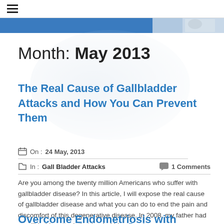☰ (hamburger menu icon)
[Figure (photo): Blue gradient banner strip with partial medical/health image on the right side]
Month: May 2013
The Real Cause of Gallbladder Attacks and How You Can Prevent Them
On : 24 May, 2013
In : Gall Bladder Attacks   1 Comments
Are you among the twenty million Americans who suffer with gallbladder disease? In this article, I will expose the real cause of gallbladder disease and what you can do to end the pain and discomfort of this degenerative disease. In 2008, my father had a gallbladder attack that landed him  Read more
Overcome Endometriosis with